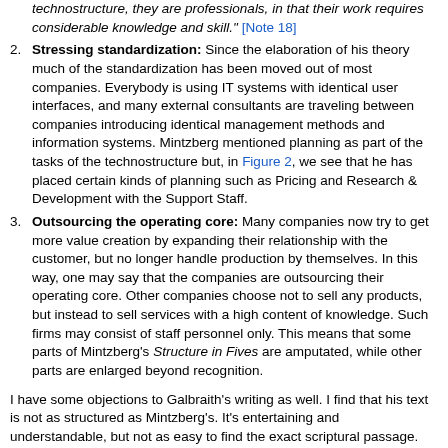technostructure, they are professionals, in that their work requires considerable knowledge and skill." [Note 18]
Stressing standardization: Since the elaboration of his theory much of the standardization has been moved out of most companies. Everybody is using IT systems with identical user interfaces, and many external consultants are traveling between companies introducing identical management methods and information systems. Mintzberg mentioned planning as part of the tasks of the technostructure but, in Figure 2, we see that he has placed certain kinds of planning such as Pricing and Research & Development with the Support Staff.
Outsourcing the operating core: Many companies now try to get more value creation by expanding their relationship with the customer, but no longer handle production by themselves. In this way, one may say that the companies are outsourcing their operating core. Other companies choose not to sell any products, but instead to sell services with a high content of knowledge. Such firms may consist of staff personnel only. This means that some parts of Mintzberg's Structure in Fives are amputated, while other parts are enlarged beyond recognition.
I have some objections to Galbraith's writing as well. I find that his text is not as structured as Mintzberg's. It's entertaining and understandable, but not as easy to find the exact scriptural passage.
Compared to Mintzberg I prefer Galbraith's definition of the technostructure because:
Galbraith regards all planners as members of the technostructure